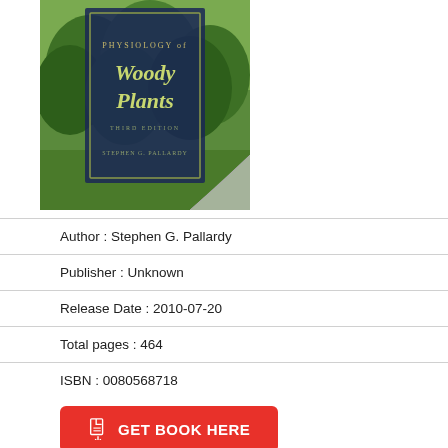[Figure (illustration): Book cover of 'Physiology of Woody Plants, Third Edition' by Stephen G. Pallardy. Dark navy blue cover with gold/green text, showing a forest landscape background with green trees. Bottom right corner shows a page curl effect.]
Author : Stephen G. Pallardy
Publisher : Unknown
Release Date : 2010-07-20
Total pages : 464
ISBN : 0080568718
GET BOOK HERE